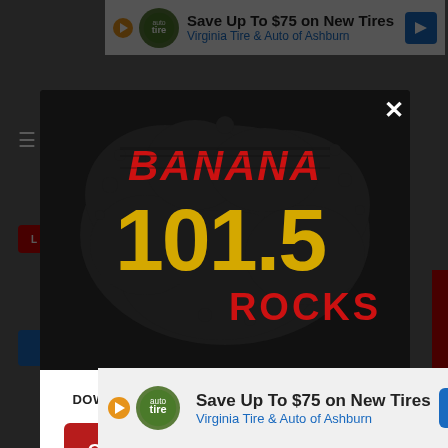[Figure (screenshot): Background webpage with dark overlay behind modal popup]
[Figure (logo): Banana 101.5 Rocks radio station logo — text BANANA in red grunge style, 101.5 in large gold/yellow numbers, ROCKS in red, all on a black splatter background]
DOWNLOAD THE BANANA 101.5 MOBILE APP
GET OUR FREE MOBILE APP
Also listen on:  amazon alexa
[Figure (screenshot): Top advertisement banner: Save Up To $75 on New Tires — Virginia Tire & Auto of Ashburn]
[Figure (screenshot): Bottom advertisement banner: Save Up To $75 on New Tires — Virginia Tire & Auto of Ashburn]